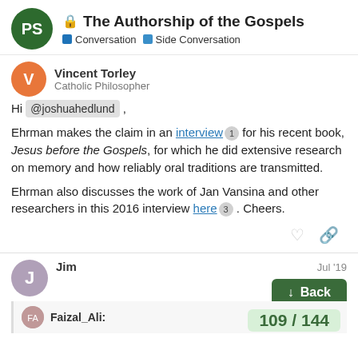The Authorship of the Gospels | Conversation | Side Conversation
Vincent Torley
Catholic Philosopher
Hi @joshuahedlund ,

Ehrman makes the claim in an interview 1 for his recent book, Jesus before the Gospels, for which he did extensive research on memory and how reliably oral traditions are transmitted.

Ehrman also discusses the work of Jan Vansina and other researchers in this 2016 interview here 3 . Cheers.
Jim
Jul '19
Faizal_Ali:
109 / 144